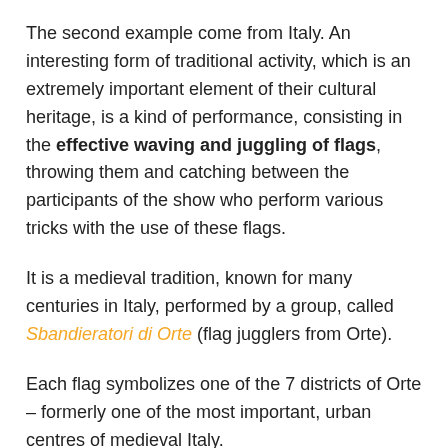The second example come from Italy. An interesting form of traditional activity, which is an extremely important element of their cultural heritage, is a kind of performance, consisting in the effective waving and juggling of flags, throwing them and catching between the participants of the show who perform various tricks with the use of these flags.
It is a medieval tradition, known for many centuries in Italy, performed by a group, called Sbandieratori di Orte (flag jugglers from Orte).
Each flag symbolizes one of the 7 districts of Orte – formerly one of the most important, urban centres of medieval Italy.
Sbandieratori di Orte is a group of very nice Italians of different age, whose shows enjoy great interest and enthusiasm of the audience. One juggler has been doing it for